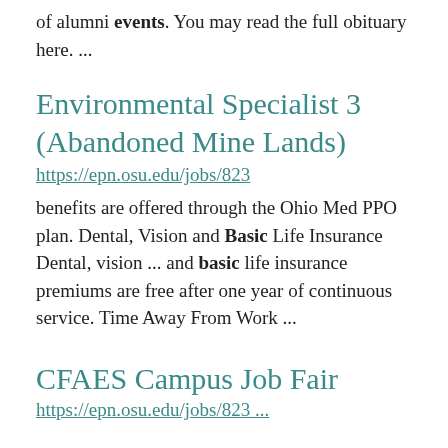of alumni events. You may read the full obituary here.  ...
Environmental Specialist 3 (Abandoned Mine Lands)
https://epn.osu.edu/jobs/823
benefits are offered through the Ohio Med PPO plan. Dental, Vision and Basic Life Insurance Dental, vision ... and basic life insurance premiums are free after one year of continuous service. Time Away From Work ...
CFAES Campus Job Fair
https://epn.osu.edu/jobs/823 ...